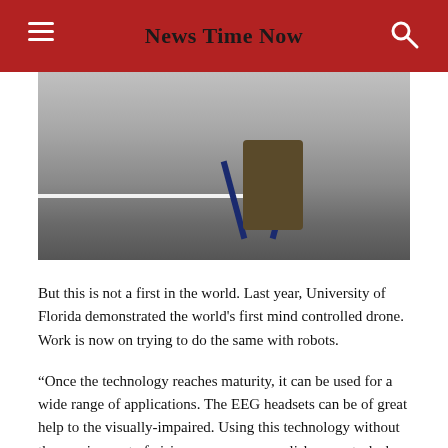News Time Now
[Figure (photo): Photo showing the lower body of a person seated on a blue folding chair on a gray floor with a white line visible.]
But this is not a first in the world. Last year, University of Florida demonstrated the world's first mind controlled drone. Work is now on trying to do the same with robots.
“Once the technology reaches maturity, it can be used for a wide range of applications. The EEG headsets can be of great help to the visually-impaired. Using this technology without the requirement of vision one can accomplish many tasks be it turning switches on or off and even drive a vehicle,” he was quoted in the newspaper.